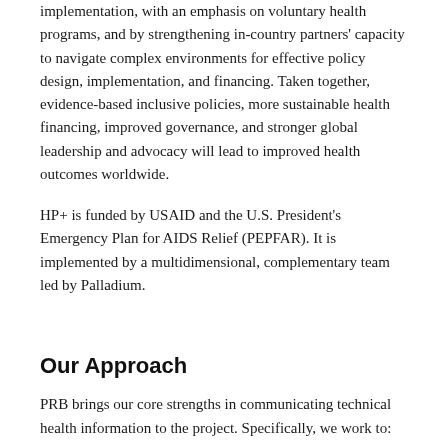implementation, with an emphasis on voluntary health programs, and by strengthening in-country partners' capacity to navigate complex environments for effective policy design, implementation, and financing. Taken together, evidence-based inclusive policies, more sustainable health financing, improved governance, and stronger global leadership and advocacy will lead to improved health outcomes worldwide.
HP+ is funded by USAID and the U.S. President's Emergency Plan for AIDS Relief (PEPFAR). It is implemented by a multidimensional, complementary team led by Palladium.
Our Approach
PRB brings our core strengths in communicating technical health information to the project. Specifically, we work to: